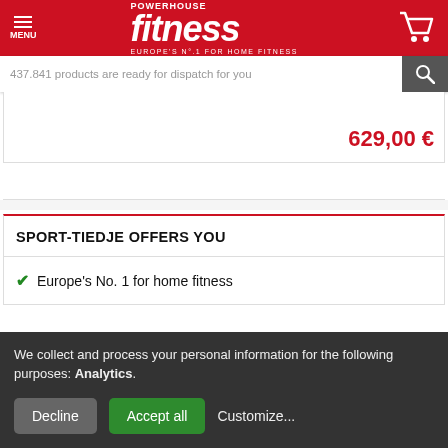[Figure (screenshot): Powerhouse Fitness website header with red background, hamburger menu on left, 'fitness' logo in white italic text, shopping cart icon on right]
437.841 products are ready for dispatch for you
629,00 €
SPORT-TIEDJE OFFERS YOU
Europe's No. 1 for home fitness
We collect and process your personal information for the following purposes: Analytics.
Decline
Accept all
Customize...